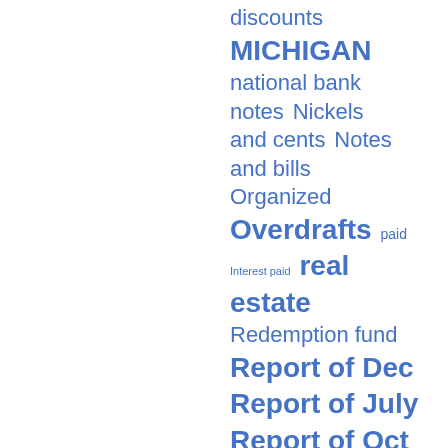[Figure (other): Tag cloud / word cloud listing banking index terms in varying font sizes. Terms include: discounts, MICHIGAN, national bank notes, Nickels and cents, Notes and bills, Organized, Overdrafts, paid, Interest paid, real estate, Redemption fund, Report of Dec, Report of July, Report of Oct, reserve cities, Resources, secure circulation, secure deposits, secured and]